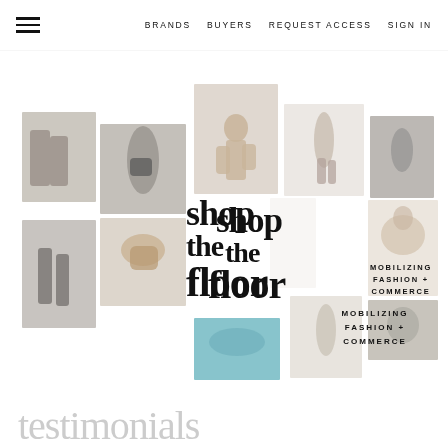BRANDS   BUYERS   REQUEST ACCESS   SIGN IN
[Figure (photo): Fashion photo collage with multiple fashion model images arranged in a mosaic grid pattern, featuring the 'shop the floor' brand name overlay]
shop the floor
MOBILIZING FASHION + COMMERCE
testimonials